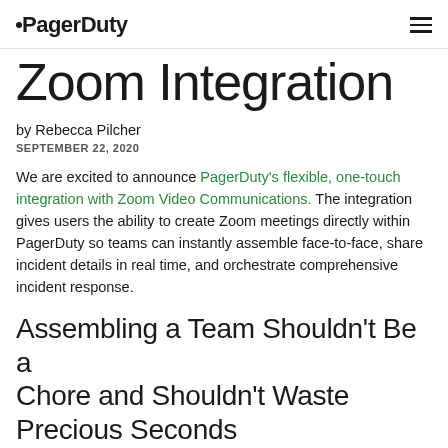PagerDuty
Zoom Integration
by Rebecca Pilcher
SEPTEMBER 22, 2020
We are excited to announce PagerDuty's flexible, one-touch integration with Zoom Video Communications. The integration gives users the ability to create Zoom meetings directly within PagerDuty so teams can instantly assemble face-to-face, share incident details in real time, and orchestrate comprehensive incident response.
Assembling a Team Shouldn't Be a Chore and Shouldn't Waste Precious Seconds